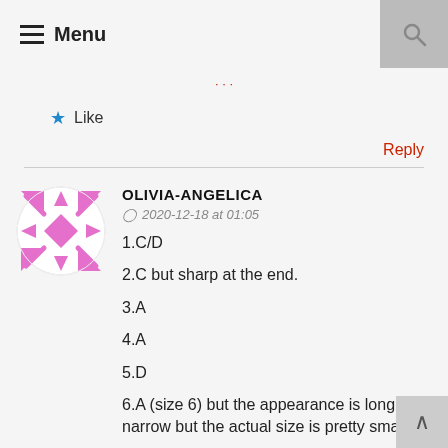Menu
Like
Reply
OLIVIA-ANGELICA
2020-12-18 at 01:05
1.C/D
2.C but sharp at the end.
3.A
4.A
5.D
6.A (size 6) but the appearance is long and narrow but the actual size is pretty small
7.A